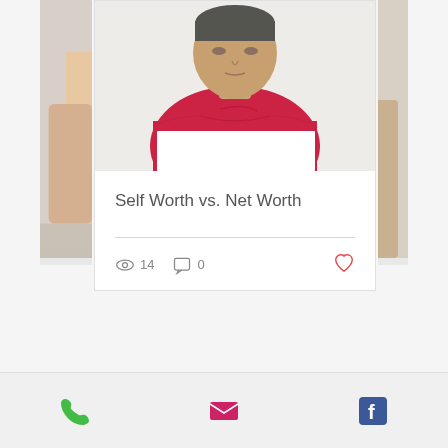[Figure (photo): Blog post card showing a man in a red Nike shirt holding a white piece of paper, with partial views of adjacent cards on left and right]
Self Worth vs. Net Worth
14 views, 0 comments, heart/like button
[Figure (other): Pagination dots: 3 dots with first dot active (dark)]
[Figure (other): Contact footer bar with phone icon (green), email icon (pink/red), and Facebook icon (blue)]